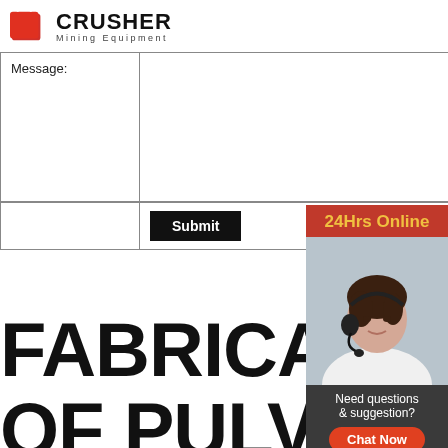[Figure (logo): Crusher Mining Equipment logo with red shopping bag icon and bold CRUSHER text with 'Mining Equipment' tagline]
|  |  |
| --- | --- |
| Message: |  |
|  | Submit |
FABRICATION OF PULVERIZED FEED MILL
[Figure (illustration): Right sidebar: 24Hrs Online banner in red/yellow, photo of woman with headset smiling, 'Need questions & suggestion?' text, Chat Now button, Enquiry link, limingjlmofen@sina.com email]
Need questions & suggestion?
Chat Now
Enquiry
limingjlmofen@sina.com